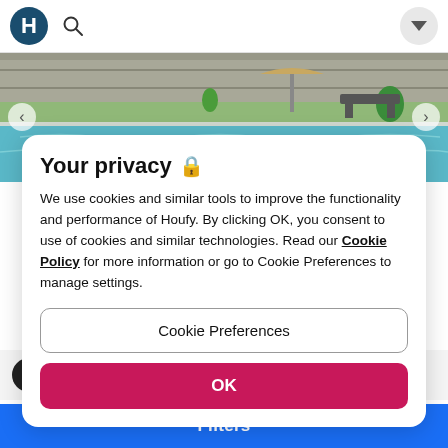[Figure (screenshot): Houfy app header with H logo, search icon, and dropdown button]
[Figure (photo): Outdoor swimming pool with stone wall and garden furniture in background]
Your privacy 🔒
We use cookies and similar tools to improve the functionality and performance of Houfy. By clicking OK, you consent to use of cookies and similar technologies. Read our Cookie Policy for more information or go to Cookie Preferences to manage settings.
Cookie Preferences
OK
Filters